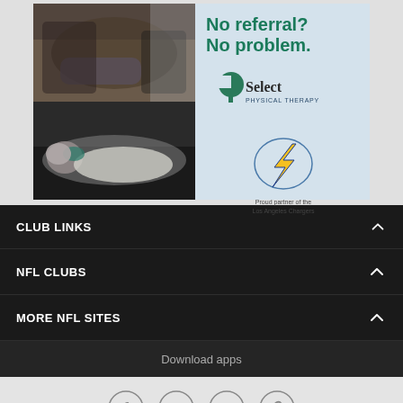[Figure (photo): Advertisement for Select Physical Therapy featuring two physical therapy session photos on the left (therapist working with patient stretching, and patient lying down being treated), and on the right text reading 'No referral? No problem.' with the Select Physical Therapy logo and Los Angeles Chargers partner logo on a light blue background.]
CLUB LINKS
NFL CLUBS
MORE NFL SITES
Download apps
[Figure (other): Social media share icons: Facebook, Twitter, Email/envelope, and a chain/link icon, all in circular outlines on a light gray background.]